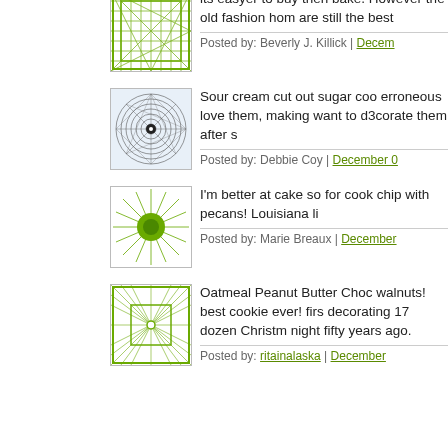its easyer to buy then bake. However the old fashion hom are still the best
Posted by: Beverly J. Killick | Decem
Sour cream cut out sugar coo erroneous love them, making want to d3corate them after s
Posted by: Debbie Coy | December 0
I'm better at cake so for cook chip with pecans! Louisiana li
Posted by: Marie Breaux | December
Oatmeal Peanut Butter Choc walnuts! best cookie ever! firs decorating 17 dozen Christm night fifty years ago.
Posted by: ritainalaska | December